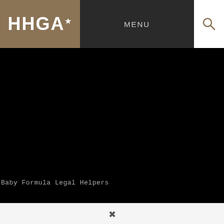HHGA★ | MENU
[Figure (screenshot): Black hero image area showing a dark/night background image, mostly black]
Baby Formula Legal Helpers